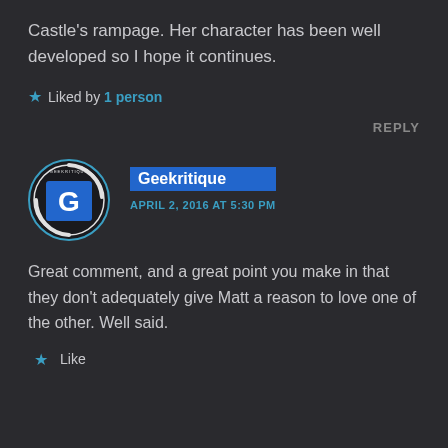Castle's rampage. Her character has been well developed so I hope it continues.
Liked by 1 person
REPLY
[Figure (logo): Geekritique circular logo with stylized G letter]
Geekritique
APRIL 2, 2016 AT 5:30 PM
Great comment, and a great point you make in that they don't adequately give Matt a reason to love one of the other. Well said.
Like